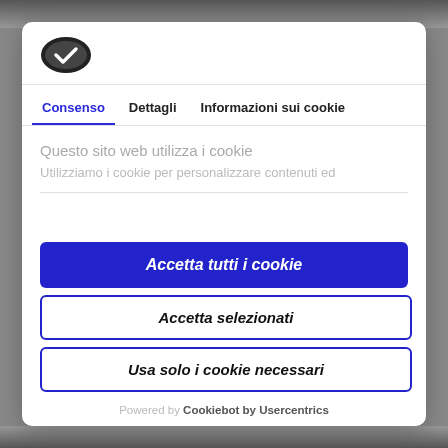[Figure (logo): Cookiebot logo: dark oval cookie icon with checkmark]
Consenso	Dettagli	Informazioni sui cookie
Questo sito web utilizza i cookie
Utilizziamo i cookie per personalizzare contenuti ed
Accetta tutti i cookie
Accetta selezionati
Usa solo i cookie necessari
Powered by Cookiebot by Usercentrics